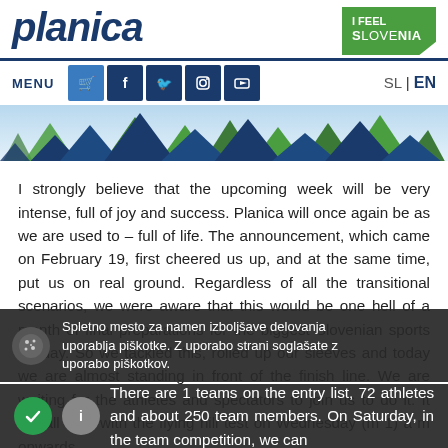planica
[Figure (logo): I FEEL SLOVENIA logo in green]
MENU | social icons (cart, facebook, twitter, instagram, youtube) | SL | EN
[Figure (illustration): Mountain silhouette banner with blue and green peaks against light blue sky]
I strongly believe that the upcoming week will be very intense, full of joy and success. Planica will once again be as we are used to – full of life. The announcement, which came on February 19, first cheered us up, and at the same time, put us on real ground. Regardless of all the transitional scenarios, we were aware that this would be one hell of a month of final preparations for the biggest Slovenian sports holiday. So we tackled this, rolled up our sleeves and today we are almost standing in front of the finish line. We are waiting for the athletes and spectators to join us to do it. It will all start with the flying hill test on Wednesday (m 1) a m onwards.
Spletno mesto za namen izboljšave delovanja uporablja piškotke. Z uporabo strani soglašate z uporabo piškotkov.
There are 1 teams on the entry list, 72 athletes and about 250 team members. On Saturday, in the team competition, we can